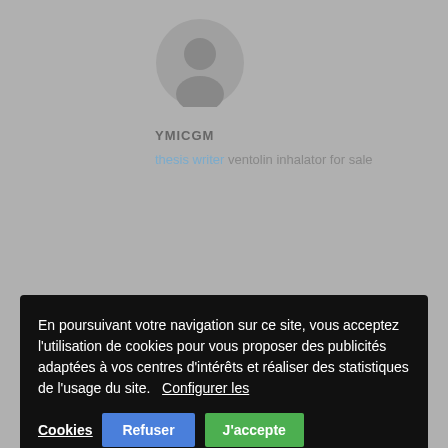[Figure (illustration): Gray circular avatar with silhouette of a person (default user icon)]
YMICGM
thesis writer ventolin inhalator for sale
En poursuivant votre navigation sur ce site, vous acceptez l'utilisation de cookies pour vous proposer des publicités adaptées à vos centres d'intérêts et réaliser des statistiques de l'usage du site.   Configurer les Cookies
Refuser
J'accepte
CHANDAMTSA
cheap dissertation writing services dissertation only phd how long is a doctoral dissertation
19 JUILLET 2022 AT 22 H 22 MIN